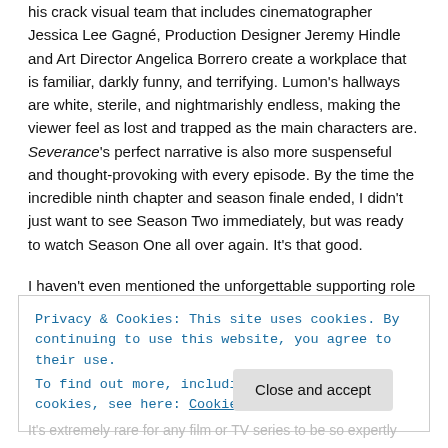his crack visual team that includes cinematographer Jessica Lee Gagné, Production Designer Jeremy Hindle and Art Director Angelica Borrero create a workplace that is familiar, darkly funny, and terrifying. Lumon's hallways are white, sterile, and nightmarishly endless, making the viewer feel as lost and trapped as the main characters are. Severance's perfect narrative is also more suspenseful and thought-provoking with every episode. By the time the incredible ninth chapter and season finale ended, I didn't just want to see Season Two immediately, but was ready to watch Season One all over again. It's that good.
I haven't even mentioned the unforgettable supporting role for Christopher Walken, playing Lumon's aging, gay art collector, or
Privacy & Cookies: This site uses cookies. By continuing to use this website, you agree to their use.
To find out more, including how to control cookies, see here: Cookie Policy
Close and accept
It's extremely rare for any film or TV series to be so expertly